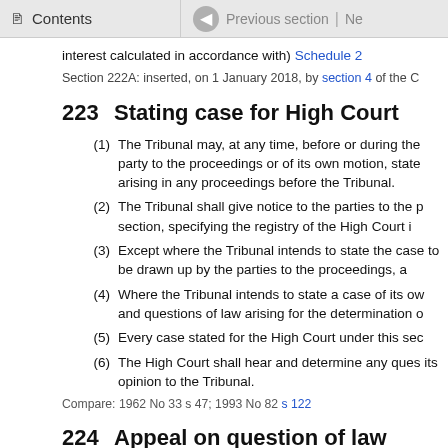Contents | Previous section | Ne
interest calculated in accordance with) Schedule 2
Section 222A: inserted, on 1 January 2018, by section 4 of the C
223 Stating case for High Court
(1) The Tribunal may, at any time, before or during the party to the proceedings or of its own motion, state arising in any proceedings before the Tribunal.
(2) The Tribunal shall give notice to the parties to the p section, specifying the registry of the High Court i
(3) Except where the Tribunal intends to state the case to be drawn up by the parties to the proceedings, a
(4) Where the Tribunal intends to state a case of its ow and questions of law arising for the determination o
(5) Every case stated for the High Court under this sec
(6) The High Court shall hear and determine any ques its opinion to the Tribunal.
Compare: 1962 No 33 s 47; 1993 No 82 s 122
224 Appeal on question of law